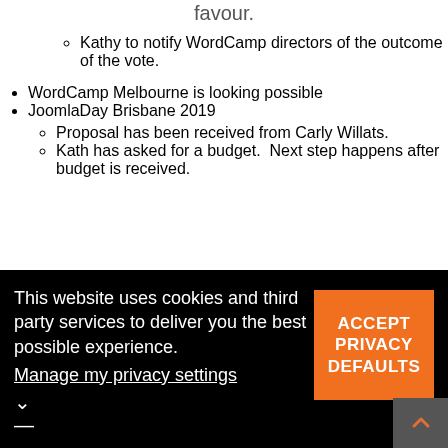favour.
Kathy to notify WordCamp directors of the outcome of the vote.
WordCamp Melbourne is looking possible
JoomlaDay Brisbane 2019
Proposal has been received from Carly Willats.
Kath has asked for a budget.  Next step happens after budget is received.
This website uses cookies and third party services to deliver you the best possible experience. Manage my privacy settings